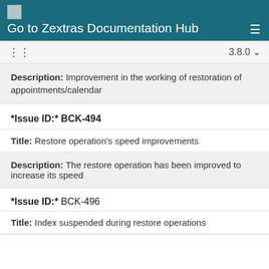Go to Zextras Documentation Hub
Description: Improvement in the working of restoration of appointments/calendar
*Issue ID:* BCK-494
Title: Restore operation's speed improvements
Description: The restore operation has been improved to increase its speed
*Issue ID:* BCK-496
Title: Index suspended during restore operations